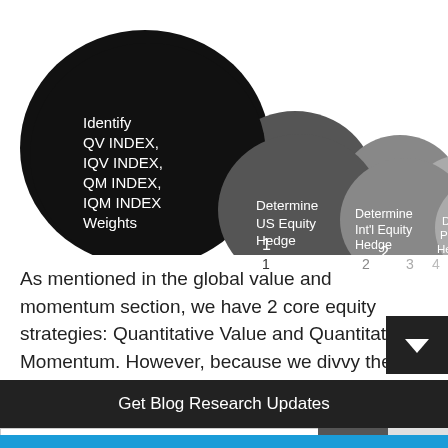[Figure (flowchart): A 5-step bubble/flowchart showing an investment process. Step 1 (black, largest bubble): 'Identify QV INDEX, IQV INDEX, QM INDEX, IQM INDEX Weights'. Step 2 (dark gray): 'Determine US Equity Hedge'. Step 3 (medium gray): 'Determine Int'l Equity Hedge'. Step 4 (light gray): 'Deploy Portfolio Hedges'. Step 5 (lightest gray): 'Invest with Conviction'. Steps are numbered 1-5 below each bubble, arranged left to right in decreasing size.]
As mentioned in the global value and momentum section, we have 2 core equity strategies: Quantitative Value and Quantitative Momentum. However, because we divvy the world into U.S. and developed markets, we end up with 4 equity
Get Blog Research Updates